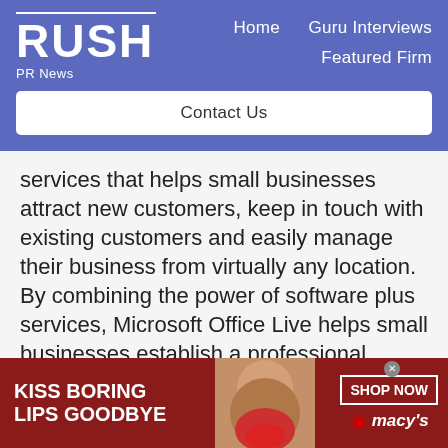RUSH PR News — Home | Guru Interviews | Featured Firm
Contact Us
services that helps small businesses attract new customers, keep in touch with existing customers and easily manage their business from virtually any location. By combining the power of software plus services, Microsoft Office Live helps small businesses establish a professional
[Figure (photo): Macy's advertisement banner: 'KISS BORING LIPS GOODBYE' with woman's face showing red lips, SHOP NOW button and Macy's star logo]